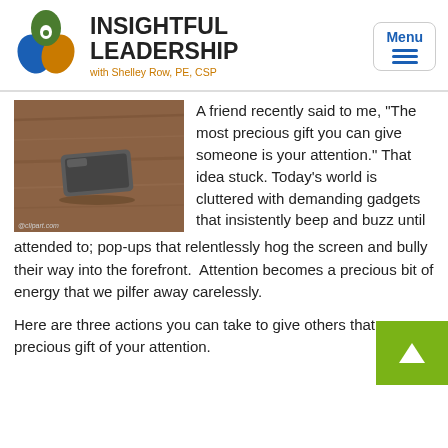[Figure (logo): Insightful Leadership logo with eye/leaf design in green, blue, and orange]
INSIGHTFUL LEADERSHIP
with Shelley Row, PE, CSP
[Figure (photo): A phone or device lying on a wooden desk surface, with @clipart.com watermark]
A friend recently said to me, "The most precious gift you can give someone is your attention." That idea stuck. Today's world is cluttered with demanding gadgets that insistently beep and buzz until attended to; pop-ups that relentlessly hog the screen and bully their way into the forefront.  Attention becomes a precious bit of energy that we pilfer away carelessly.
Here are three actions you can take to give others that precious gift of your attention.